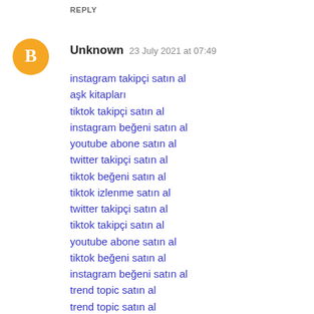REPLY
Unknown  23 July 2021 at 07:49
instagram takipçi satın al
aşk kitapları
tiktok takipçi satın al
instagram beğeni satın al
youtube abone satın al
twitter takipçi satın al
tiktok beğeni satın al
tiktok izlenme satın al
twitter takipçi satın al
tiktok takipçi satın al
youtube abone satın al
tiktok beğeni satın al
instagram beğeni satın al
trend topic satın al
trend topic satın al
youtube abone satın al
instagram takipçi satın al
beğeni satın al
tiktok izlenme satın al
sms onay